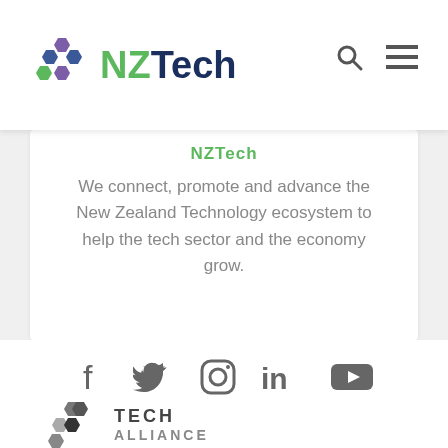[Figure (logo): NZTech logo with colorful hexagon shapes and 'NZTech' text in green and dark blue]
[Figure (illustration): Search icon (magnifying glass) and hamburger menu icon in top right navigation bar]
NZTech
We connect, promote and advance the New Zealand Technology ecosystem to help the tech sector and the economy grow.
[Figure (illustration): Social media icons row: Facebook, Twitter, Instagram, LinkedIn, YouTube]
[Figure (logo): Tech Alliance logo with grey hexagon shapes and bold text 'TECH ALLIANCE']